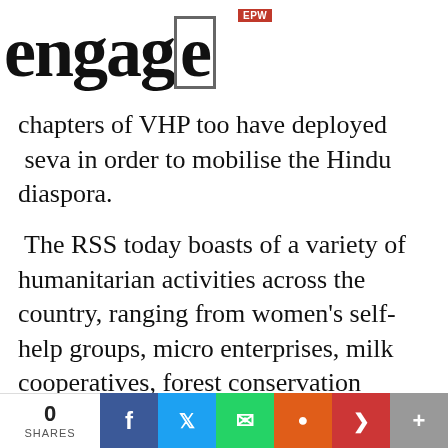EPW engage
chapters of VHP too have deployed seva in order to mobilise the Hindu diaspora.
The RSS today boasts of a variety of humanitarian activities across the country, ranging from women's self-help groups, micro enterprises, milk cooperatives, forest conservation projects, eye banks, bird sanctuaries, ashrams for the homeless, computer-aided learning centres, organisations for persons with physical disabilities, rural technology centres, vocational training programmes, veterin
0 SHARES  f  Twitter  WhatsApp  Reddit  Pocket  +